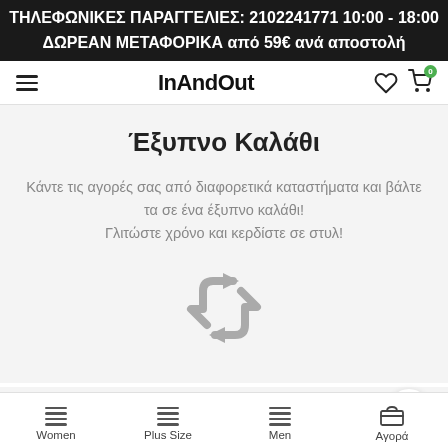ΤΗΛΕΦΩΝΙΚΕΣ ΠΑΡΑΓΓΕΛΙΕΣ: 2102241771 10:00 - 18:00
ΔΩΡΕΑΝ ΜΕΤΑΦΟΡΙΚΑ από 59€ ανά αποστολή
InAndOut
Έξυπνο Καλάθι
Κάντε τις αγορές σας από διαφορετικά καταστήματα και βάλτε τα σε ένα έξυπνο καλάθι!
Γλιτώστε χρόνο και κερδίστε σε στυλ!
[Figure (illustration): Recycle/transfer arrows icon in gray]
Πολιτική Αλλαγών
Women | Plus Size | Men | Αγορά